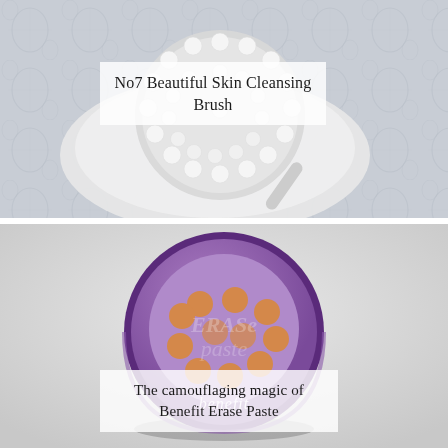[Figure (photo): Black and white photo of a round cleansing brush with soft white bristle heads arranged in a circle, sitting on a decorative plate with floral patterned fabric underneath.]
No7 Beautiful Skin Cleansing Brush
[Figure (photo): Color photo of a circular Benefit Erase Paste compact with a purple outer ring, purple lid featuring a polka dot pattern with orange/gold dots, the word 'erase paste' visible on the lid, and 'benefit' text at the bottom of the compact, on a light grey background.]
The camouflaging magic of Benefit Erase Paste